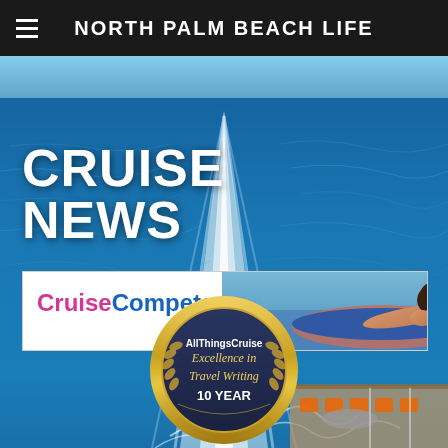NORTH PALM BEACH LIFE
CRUISE NEWS
[Figure (photo): Ocean wake behind a cruise ship with blue water]
[Figure (logo): CruiseCompete.com advertisement banner with woman relaxing on cruise]
[Figure (other): AllThingsCruise Excellence in Travel Writing 10 YEAR badge/medallion over cruise ship deck with orange chairs]